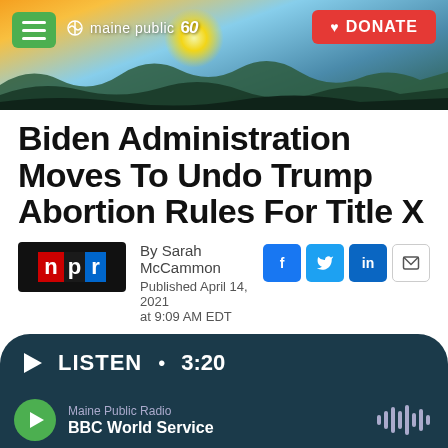[Figure (screenshot): Maine Public 60th anniversary website header with scenic landscape photo (lake and hills at sunset/sunrise), green hamburger menu button, Maine Public 60 logo in white, and red DONATE button]
Biden Administration Moves To Undo Trump Abortion Rules For Title X
[Figure (logo): NPR logo: red N, black P, blue R on black background]
By Sarah McCammon
Published April 14, 2021 at 9:09 AM EDT
[Figure (infographic): Social sharing buttons: Facebook (blue), Twitter (blue), LinkedIn (blue), Email (white with border)]
LISTEN • 3:20
Maine Public Radio
BBC World Service